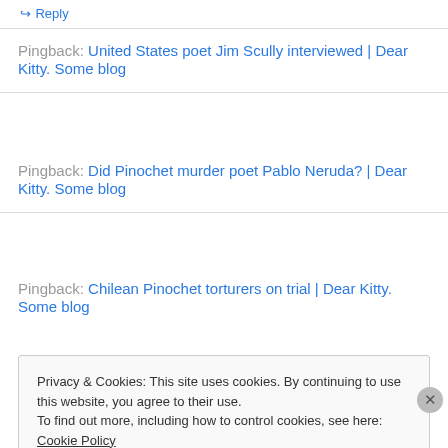↪ Reply
Pingback: United States poet Jim Scully interviewed | Dear Kitty. Some blog
Pingback: Did Pinochet murder poet Pablo Neruda? | Dear Kitty. Some blog
Pingback: Chilean Pinochet torturers on trial | Dear Kitty. Some blog
Privacy & Cookies: This site uses cookies. By continuing to use this website, you agree to their use.
To find out more, including how to control cookies, see here: Cookie Policy